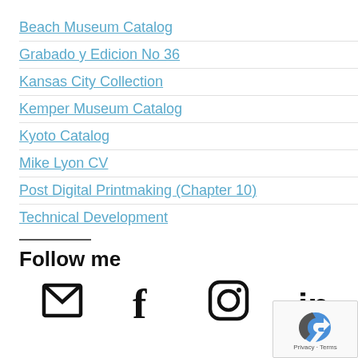Beach Museum Catalog
Grabado y Edicion No 36
Kansas City Collection
Kemper Museum Catalog
Kyoto Catalog
Mike Lyon CV
Post Digital Printmaking (Chapter 10)
Technical Development
Follow me
[Figure (illustration): Row of social media icons: email envelope, Facebook f, Instagram camera, LinkedIn in]